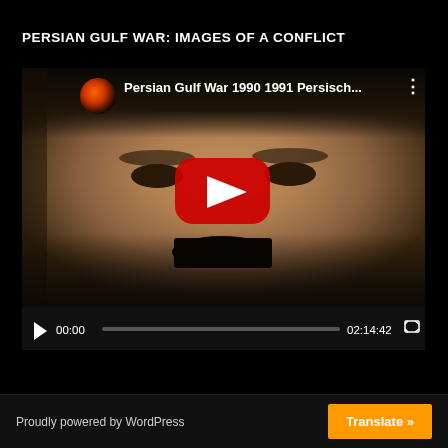PERSIAN GULF WAR: IMAGES OF A CONFLICT
[Figure (screenshot): YouTube video player showing 'Persian Gulf War 1990 1991 Persisch...' with a close-up face thumbnail, YouTube play button overlay, and video controls showing 00:00 start and 02:14:42 duration]
Proudly powered by WordPress   Translate »